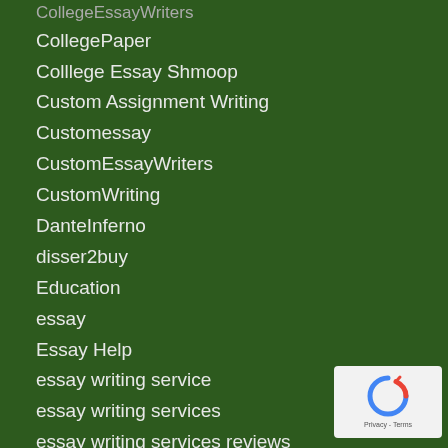CollegeEssayWriters
CollegePaper
Colllege Essay Shmoop
Custom Assignment Writing
Customessay
CustomEssayWriters
CustomWriting
DanteInferno
disser2buy
Education
essay
Essay Help
essay writing service
essay writing services
essay writing services reviews
Essay Writing Solutions from US